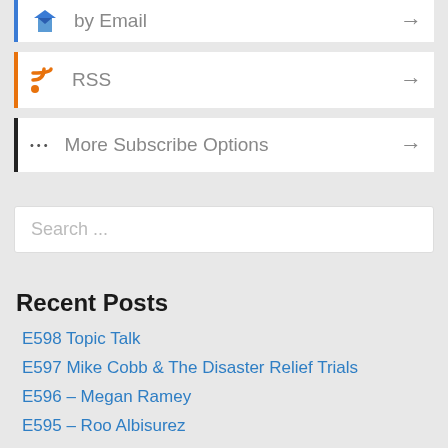by Email
RSS
More Subscribe Options
Search ...
Recent Posts
E598 Topic Talk
E597 Mike Cobb & The Disaster Relief Trials
E596 – Megan Ramey
E595 – Roo Albisurez